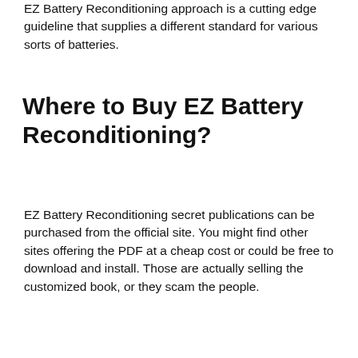EZ Battery Reconditioning approach is a cutting edge guideline that supplies a different standard for various sorts of batteries.
Where to Buy EZ Battery Reconditioning?
EZ Battery Reconditioning secret publications can be purchased from the official site. You might find other sites offering the PDF at a cheap cost or could be free to download and install. Those are actually selling the customized book, or they scam the people.